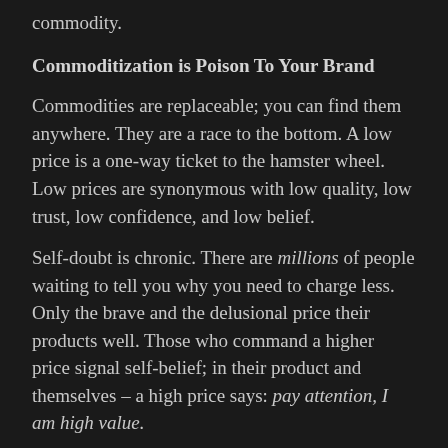commodity.
Commoditization is Poison To Your Brand
Commodities are replaceable; you can find them anywhere. They are a race to the bottom. A low price is a one-way ticket to the hamster wheel. Low prices are synonymous with low quality, low trust, low confidence, and low belief.
Self-doubt is chronic. There are millions of people waiting to tell you why you need to charge less. Only the brave and the delusional price their products well. Those who command a higher price signal self-belief; in their product and themselves – a high price says: pay attention, I am high value.